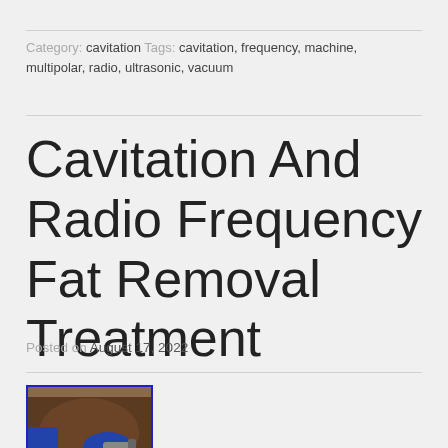Category: cavitation Tags: cavitation, frequency, machine, multipolar, radio, ultrasonic, vacuum
Cavitation And Radio Frequency Fat Removal Treatment
Posted on August 17, 2022
[Figure (photo): A person receiving a cavitation or radio frequency treatment on their neck/face area, with gloved hands holding a device applicator.]